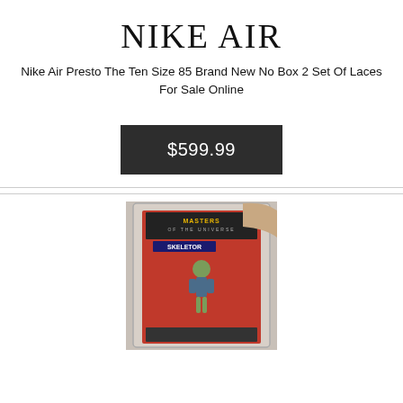NIKE AIR
Nike Air Presto The Ten Size 85 Brand New No Box 2 Set Of Laces For Sale Online
$599.99
[Figure (photo): Photo of a Masters of the Universe Skeletor action figure in original blister pack, encased in a clear acrylic case, held by a person's hand.]